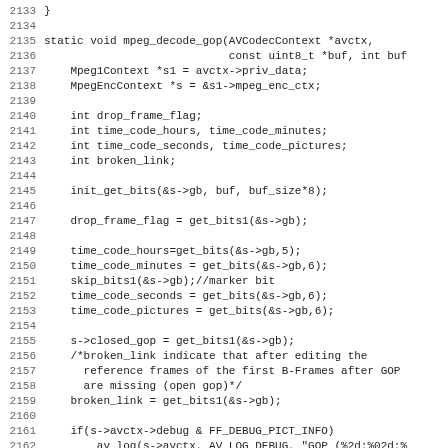[Figure (screenshot): Source code listing showing lines 2133-2165 of a C function 'mpeg_decode_gop' with line numbers on the left side. The code includes variable declarations, bit reading operations, and conditional debug logging.]